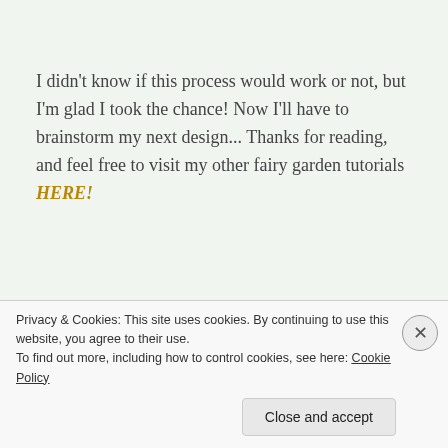I didn't know if this process would work or not, but I'm glad I took the chance! Now I'll have to brainstorm my next design... Thanks for reading, and feel free to visit my other fairy garden tutorials HERE!
~ Jessi
(Don't want to forget this? Just pin for later: ♥)
[Figure (other): Partial image of a dark/black banner with white text, partially visible at the bottom of the page]
Privacy & Cookies: This site uses cookies. By continuing to use this website, you agree to their use.
To find out more, including how to control cookies, see here: Cookie Policy
Close and accept